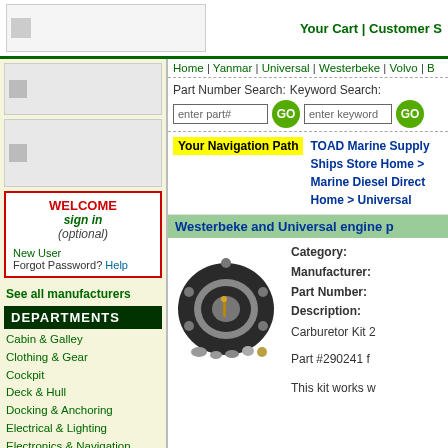Your Cart | Customer S
Home | Yanmar | Universal | Westerbeke | Volvo | B
Part Number Search: [enter part#] GO   Keyword Search: [enter keyword] GO
Your Navigation Path  TOAD Marine Supply Ships Store Home > Marine Diesel Direct Home > Universal
WELCOME sign in (optional)
New User
Forgot Password? Help
See all manufacturers
DEPARTMENTS
Cabin & Galley
Clothing & Gear
Cockpit
Deck & Hull
Docking & Anchoring
Electrical & Lighting
Electronics & Navigation
Engine Parts & Accessories
Gifts & Misc.
Westerbeke and Universal engine p
Category:
Manufacturer:
Part Number:
Description:
Carburetor Kit 2

Part #290241 f

This kit works w
[Figure (photo): Carburetor kit parts - gasket and small components laid out]